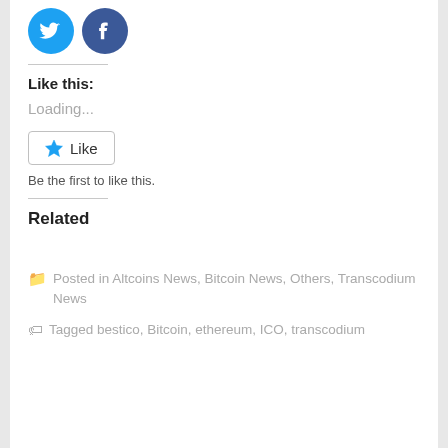[Figure (logo): Twitter and Facebook social share icon buttons (circles)]
Like this:
Loading...
[Figure (other): Like button with star icon]
Be the first to like this.
Related
Posted in Altcoins News, Bitcoin News, Others, Transcodium News
Tagged bestico, Bitcoin, ethereum, ICO, transcodium